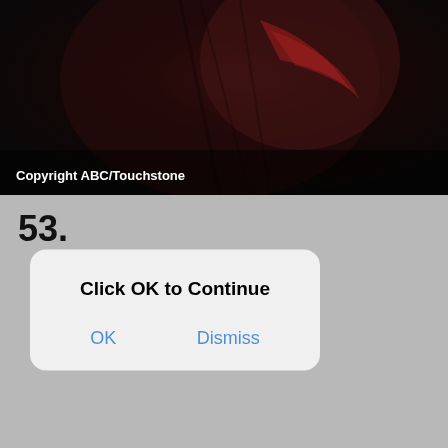[Figure (photo): Dark dramatic image showing what appears to be a figure or character with red and black tones, with copyright text overlay 'Copyright ABC/Touchstone']
Copyright ABC/Touchstone
53.
[Figure (screenshot): iOS-style dialog box with title 'Click OK to Continue' and two buttons: 'OK' and 'Dismiss']